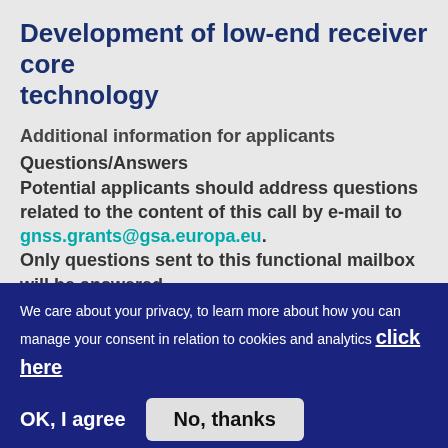Development of low-end receiver core technology
Additional information for applicants
Questions/Answers
Potential applicants should address questions related to the content of this call by e-mail to gnss.grants@gsa.europa.eu. Only questions sent to this functional mailbox will be answered. Answers will only be published periodically and within a reasonable period of…
We care about your privacy, to learn more about how you can manage your consent in relation to cookies and analytics click here
OK, I agree
No, thanks